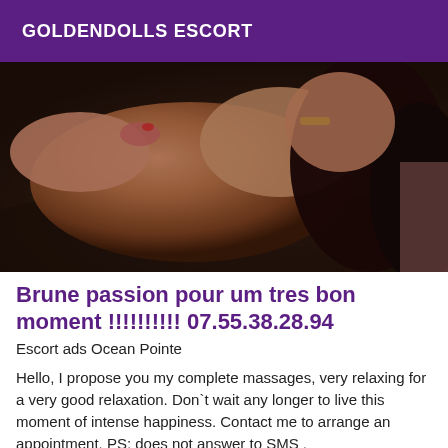GOLDENDOLLS ESCORT
[Figure (photo): Photo of a person lying down on a dark surface, upper body visible, wearing gold jewelry, dark long hair, viewed from above at an angle.]
Brune passion pour um tres bon moment !!!!!!!!!! 07.55.38.28.94
Escort ads Ocean Pointe
Hello, I propose you my complete massages, very relaxing for a very good relaxation. Don`t wait any longer to live this moment of intense happiness. Contact me to arrange an appointment. PS: does not answer to SMS .